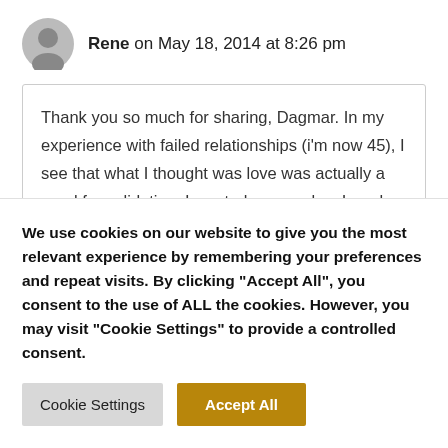Rene on May 18, 2014 at 8:26 pm
Thank you so much for sharing, Dagmar. In my experience with failed relationships (i'm now 45), I see that what I thought was love was actually a need for validation. I wanted approval so I made compromises (at great cost to my authenticity at times) thinking that would win me "love". We all conform from childhood
We use cookies on our website to give you the most relevant experience by remembering your preferences and repeat visits. By clicking "Accept All", you consent to the use of ALL the cookies. However, you may visit "Cookie Settings" to provide a controlled consent.
Cookie Settings
Accept All